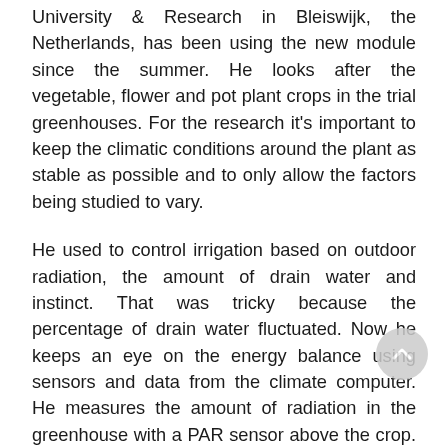University & Research in Bleiswijk, the Netherlands, has been using the new module since the summer. He looks after the vegetable, flower and pot plant crops in the trial greenhouses. For the research it's important to keep the climatic conditions around the plant as stable as possible and to only allow the factors being studied to vary.
He used to control irrigation based on outdoor radiation, the amount of drain water and instinct. That was tricky because the percentage of drain water fluctuated. Now he keeps an eye on the energy balance using sensors and data from the climate computer. He measures the amount of radiation in the greenhouse with a PAR sensor above the crop. He can input into the computer how much energy he is adding via the pipes and whether or not he is screening. In this case, energy input from the heating pipes is left out of the equation as it is a constant, low factor. “If the heating were to fluctuate, we would need to take that into account.”